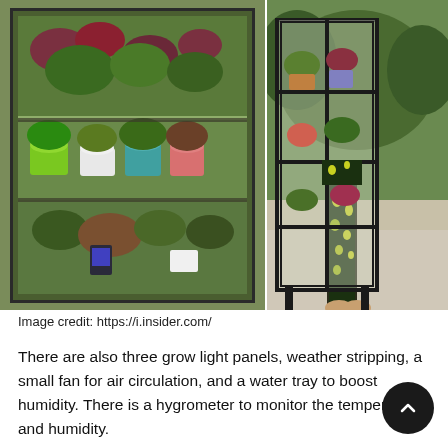[Figure (photo): Two photos side by side: left shows a glass terrarium cabinet filled with various tropical houseplants in colorful pots; right shows a person standing next to a tall black glass IKEA Fabrikör cabinet filled with plants, outdoors.]
Image credit: https://i.insider.com/
There are also three grow light panels, weather stripping, a small fan for air circulation, and a water tray to boost humidity. There is a hygrometer to monitor the temperature and humidity.
Gorgeous DIY Terrarium from an IKEA Fabrikor